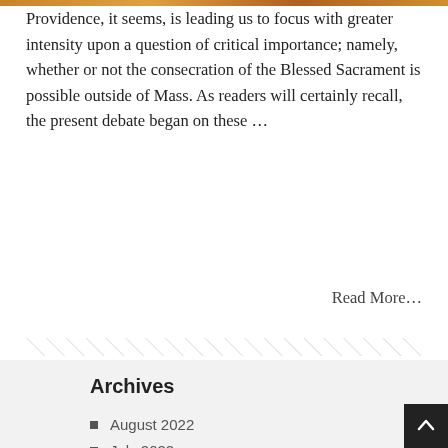[Figure (photo): Decorative color bar at top of page, warm orange/brown tones]
Providence, it seems, is leading us to focus with greater intensity upon a question of critical importance; namely, whether or not the consecration of the Blessed Sacrament is possible outside of Mass. As readers will certainly recall, the present debate began on these …
Read More…
Archives
August 2022
July 2022
June 2022
May 2022
April 2022
March 2022